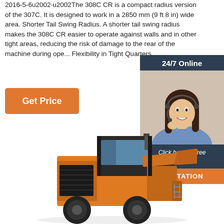2016-5-6u2002·u2002The 308C CR is a compact radius version of the 307C. It is designed to work in a 2850 mm (9 ft 8 in) wide area. Shorter Tail Swing Radius. A shorter tail swing radius makes the 308C CR easier to operate against walls and in other tight areas, reducing the risk of damage to the rear of the machine during ope... Flexibility in Tight Quarters ...
[Figure (other): Orange 'Get Price' button]
[Figure (other): 24/7 Online chat widget with female customer service representative wearing headset, 'Click here for free chat!' text and orange QUOTATION button]
[Figure (photo): Orange/yellow construction front loader machine (compact radius excavator/wheel loader) photographed from the side, showing cab, engine compartment, and front bucket]